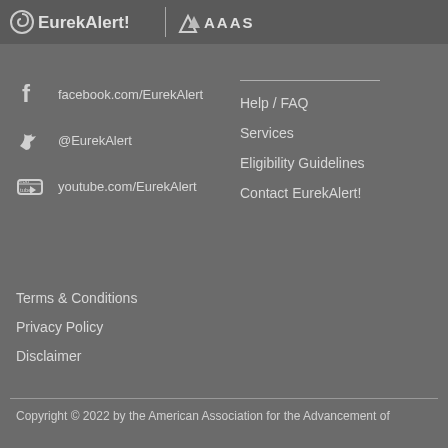[Figure (logo): EurekAlert! and AAAS logos in header]
facebook.com/EurekAlert
@EurekAlert
youtube.com/EurekAlert
Help / FAQ
Services
Eligibility Guidelines
Contact EurekAlert!
Terms & Conditions
Privacy Policy
Disclaimer
Copyright © 2022 by the American Association for the Advancement of